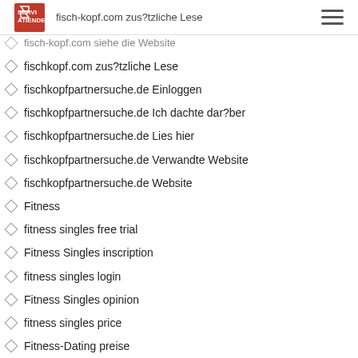serviatiende.com — fisch-kopf.com zus?tzliche Lese
fischkopf.com zus?tzliche Lese
fischkopfpartnersuche.de Einloggen
fischkopfpartnersuche.de Ich dachte dar?ber
fischkopfpartnersuche.de Lies hier
fischkopfpartnersuche.de Verwandte Website
fischkopfpartnersuche.de Website
Fitness
fitness singles free trial
Fitness Singles inscription
fitness singles login
Fitness Singles opinion
fitness singles price
Fitness-Dating preise
fitnesssingles reviews does work
fitnesssingles reviews how to message someone on
fitnesssingles reviews reddit
fitnesssingles reviews review